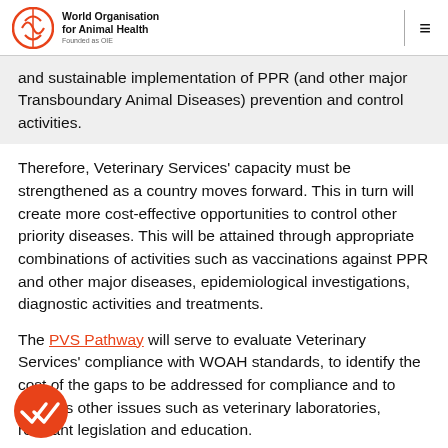World Organisation for Animal Health Founded as OIE
and sustainable implementation of PPR (and other major Transboundary Animal Diseases) prevention and control activities.
Therefore, Veterinary Services' capacity must be strengthened as a country moves forward. This in turn will create more cost-effective opportunities to control other priority diseases. This will be attained through appropriate combinations of activities such as vaccinations against PPR and other major diseases, epidemiological investigations, diagnostic activities and treatments.
The PVS Pathway will serve to evaluate Veterinary Services' compliance with WOAH standards, to identify the cost of the gaps to be addressed for compliance and to address other issues such as veterinary laboratories, relevant legislation and education.